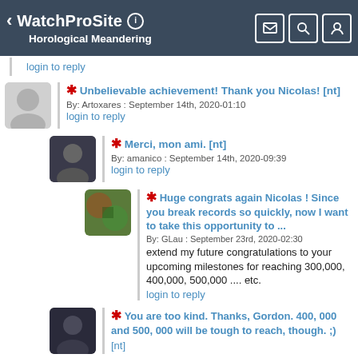WatchProSite  Horological Meandering
login to reply
* Unbelievable achievement! Thank you Nicolas! [nt]
By: Artoxares : September 14th, 2020-01:10
login to reply
* Merci, mon ami. [nt]
By: amanico : September 14th, 2020-09:39
login to reply
* Huge congrats again Nicolas ! Since you break records so quickly, now I want to take this opportunity to ...
By: GLau : September 23rd, 2020-02:30
extend my future congratulations to your upcoming milestones for reaching 300,000, 400,000, 500,000 .... etc.
login to reply
* You are too kind. Thanks, Gordon. 400, 000 and 500, 000 will be tough to reach, though. ;) [nt]